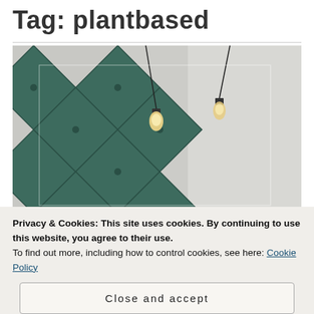Tag: plantbased
[Figure (photo): Interior restaurant photo showing tufted green diamond-patterned upholstered wall panels with two pendant Edison bulb lights hanging from the ceiling against a light grey textured wall]
Privacy & Cookies: This site uses cookies. By continuing to use this website, you agree to their use.
To find out more, including how to control cookies, see here: Cookie Policy
Close and accept